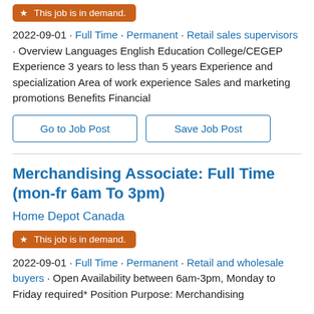[Figure (other): Orange badge reading 'This job is in demand.']
2022-09-01 · Full Time · Permanent · Retail sales supervisors · Overview Languages English Education College/CEGEP Experience 3 years to less than 5 years Experience and specialization Area of work experience Sales and marketing promotions Benefits Financial
Go to Job Post
Save Job Post
Merchandising Associate: Full Time (mon-fr 6am To 3pm)
Home Depot Canada
[Figure (other): Orange badge reading 'This job is in demand.']
2022-09-01 · Full Time · Permanent · Retail and wholesale buyers · Open Availability between 6am-3pm, Monday to Friday required* Position Purpose: Merchandising